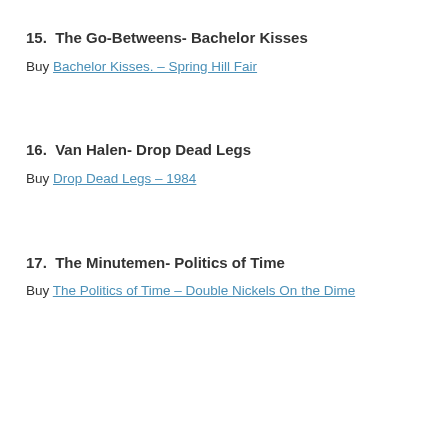15.  The Go-Betweens- Bachelor Kisses
Buy Bachelor Kisses. – Spring Hill Fair
16.  Van Halen- Drop Dead Legs
Buy Drop Dead Legs – 1984
17.  The Minutemen- Politics of Time
Buy The Politics of Time – Double Nickels On the Dime